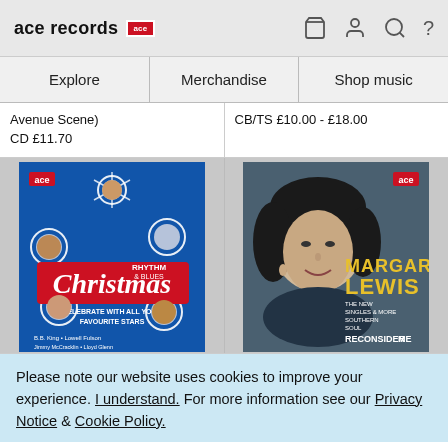ace records [ace logo]
Explore | Merchandise | Shop music
Avenue Scene) CD £11.70
CB/TS £10.00 - £18.00
[Figure (photo): Album cover: Rhythm & Blues Christmas - Celebrate with all your favourite stars. Blue background with snowflakes and artist portraits. Artists include B.B. King, Lowell Fulson.]
[Figure (photo): Album cover: Margaret Lewis - Reconsider Me. Black and white portrait of a woman. Gold text reads Margaret Lewis, The New Singles & More Southern Soul.]
Please note our website uses cookies to improve your experience. I understand. For more information see our Privacy Notice & Cookie Policy.